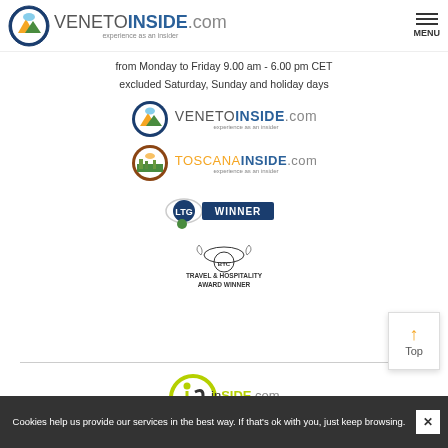VENETOINSIDE.com - experience as an insider | MENU
from Monday to Friday 9.00 am - 6.00 pm CET
excluded Saturday, Sunday and holiday days
[Figure (logo): VENETOINSIDE.com logo - experience as an insider]
[Figure (logo): TOSCANAINSIDE.com logo - experience as an insider]
[Figure (logo): LTG Winner award badge]
[Figure (logo): Travel & Hospitality Award Winner badge]
[Figure (logo): inSIDE.com tourism solutions logo]
Cookies help us provide our services in the best way. If that's ok with you, just keep browsing.